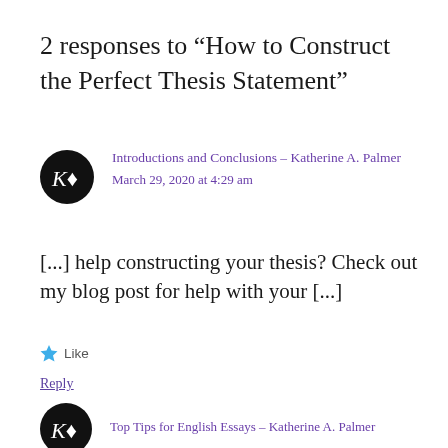2 responses to “How to Construct the Perfect Thesis Statement”
Introductions and Conclusions – Katherine A. Palmer
March 29, 2020 at 4:29 am
[...] help constructing your thesis? Check out my blog post for help with your [...]
★ Like
Reply
Top Tips for English Essays – Katherine A. Palmer